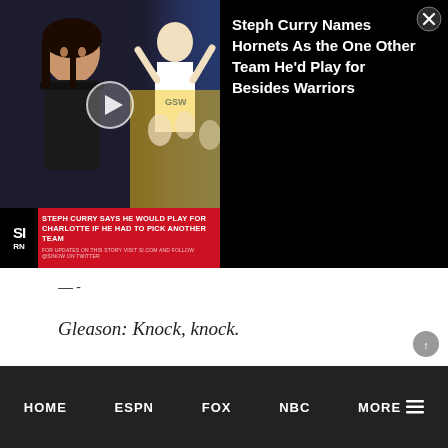[Figure (screenshot): Video thumbnail showing a sports news segment. Left side shows a female news anchor against a dark background with a play button overlay. Right side shows a basketball player (Steph Curry) in a Warriors uniform celebrating with arms raised, crowd in background. Bottom of video has a red SI (Sports Illustrated) banner reading 'STEPH CURRY SAYS HE WOULD PLAY FOR CHARLOTTE IF HE HAD TO PICK ANOTHER TEAM'. A close (X) button is in the top right corner.]
Steph Curry Names Hornets As the One Other Team He'd Play for Besides Warriors
—-
Gleason: Knock, knock.
HOME   ESPN   FOX   NBC   MORE